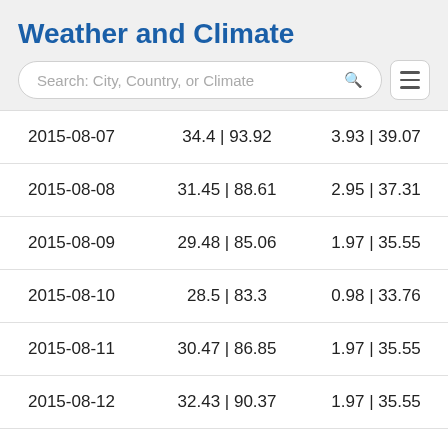Weather and Climate
| 2015-08-07 | 34.4 | 93.92 | 3.93 | 39.07 |
| 2015-08-08 | 31.45 | 88.61 | 2.95 | 37.31 |
| 2015-08-09 | 29.48 | 85.06 | 1.97 | 35.55 |
| 2015-08-10 | 28.5 | 83.3 | 0.98 | 33.76 |
| 2015-08-11 | 30.47 | 86.85 | 1.97 | 35.55 |
| 2015-08-12 | 32.43 | 90.37 | 1.97 | 35.55 |
| 2015-08-13 | 31.45 | 88.61 | 0.98 | 33.76 |